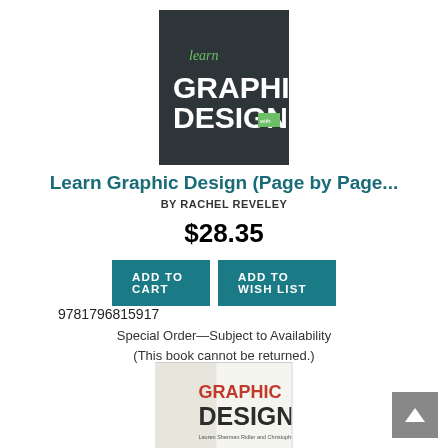[Figure (illustration): Book cover for 'Learn Graphic Design' with dark background, green 'learn' text, and white bold GRAPHIC DESIGN text]
Learn Graphic Design (Page by Page...
BY RACHEL REVELEY
$28.35
ADD TO CART
ADD TO WISH LIST
9781796815917
Special Order—Subject to Availability
(This book cannot be returned.)
[Figure (illustration): Book cover for 'Graphic Design History' with red and dark text on white background]